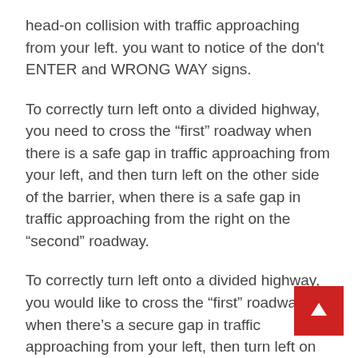head-on collision with traffic approaching from your left. you want to notice of the don't ENTER and WRONG WAY signs.
To correctly turn left onto a divided highway, you need to cross the “first” roadway when there is a safe gap in traffic approaching from your left, and then turn left on the other side of the barrier, when there is a safe gap in traffic approaching from the right on the “second” roadway.
To correctly turn left onto a divided highway, you would like to cross the “first” roadway when there’s a secure gap in traffic approaching from your left, then turn left on the opposite side of the barrier, when there’s a secure gap in traffic approaching from the proper on the “second” roadway.